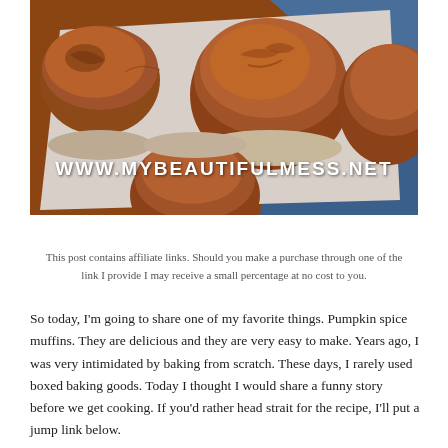[Figure (photo): Overhead photo of pumpkin spice muffins in a white muffin tin on a blue cloth background, with watermark text 'WWW.MYBEAUTIFULMESS.NET' overlaid in white bold text]
This post contains affiliate links. Should you make a purchase through one of the link I provide I may receive a small percentage at no cost to you.
So today, I'm going to share one of my favorite things. Pumpkin spice muffins. They are delicious and they are very easy to make. Years ago, I was very intimidated by baking from scratch. These days, I rarely used boxed baking goods. Today I thought I would share a funny story before we get cooking. If you'd rather head strait for the recipe, I'll put a jump link below.